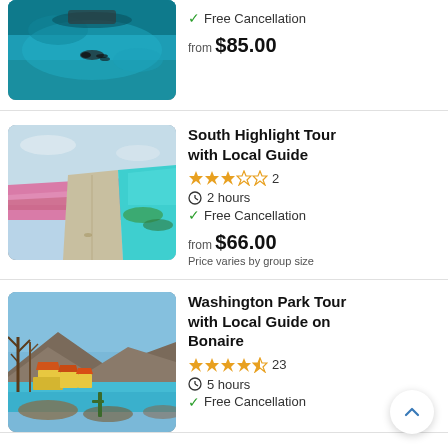[Figure (photo): Aerial view of a scuba diver swimming above turquoise ocean water near a boat, shot from above.]
✓ Free Cancellation
from $85.00
South Highlight Tour with Local Guide
[Figure (photo): Aerial view of a coastal road separating pink salt flats from turquoise ocean water in Bonaire.]
★★★☆☆ 2
🕐 2 hours
✓ Free Cancellation
from $66.00
Price varies by group size
Washington Park Tour with Local Guide on Bonaire
[Figure (photo): Rocky terrain with dead trees, yellow colonial buildings with orange roofs, mountains, and turquoise ocean in the background in Washington Park, Bonaire.]
★★★★½ 23
🕐 5 hours
✓ Free Cancellation